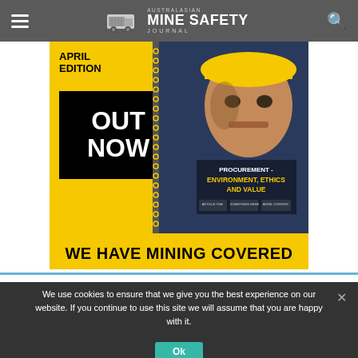Australasian Mine Safety Journal
[Figure (illustration): Advertisement banner for Australasian Mine Safety Journal April Edition. Yellow background with 'APRIL EDITION' text, black box with 'OUT NOW' in white, magazine cover showing worker in hard hat with text 'PROCUREMENT - ENVIRONMENT, ETHICS AND VALUE', bottom text 'WE HAVE MINING COVERED']
Privacy & Cookies: This site uses cookies. By continuing to use this
We use cookies to ensure that we give you the best experience on our website. If you continue to use this site we will assume that you are happy with it.